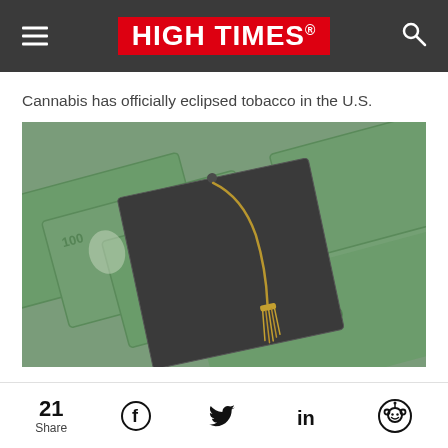HIGH TIMES
Cannabis has officially eclipsed tobacco in the U.S.
[Figure (photo): A graduation mortarboard cap with a gold tassel resting on top of a spread of US dollar bills (hundred dollar bills), viewed from a slight angle.]
21 Share | Facebook | Twitter | LinkedIn | Reddit